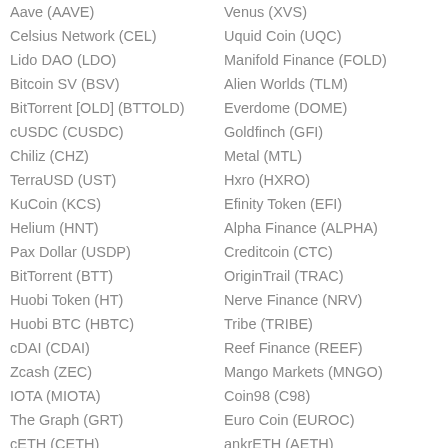Aave (AAVE)
Venus (XVS)
Celsius Network (CEL)
Uquid Coin (UQC)
Lido DAO (LDO)
Manifold Finance (FOLD)
Bitcoin SV (BSV)
Alien Worlds (TLM)
BitTorrent [OLD] (BTTOLD)
Everdome (DOME)
cUSDC (CUSDC)
Goldfinch (GFI)
Chiliz (CHZ)
Metal (MTL)
TerraUSD (UST)
Hxro (HXRO)
KuCoin (KCS)
Efinity Token (EFI)
Helium (HNT)
Alpha Finance (ALPHA)
Pax Dollar (USDP)
Creditcoin (CTC)
BitTorrent (BTT)
OriginTrail (TRAC)
Huobi Token (HT)
Nerve Finance (NRV)
Huobi BTC (HBTC)
Tribe (TRIBE)
cDAI (CDAI)
Reef Finance (REEF)
Zcash (ZEC)
Mango Markets (MNGO)
IOTA (MIOTA)
Coin98 (C98)
The Graph (GRT)
Euro Coin (EUROC)
cETH (CETH)
ankrETH (AETH)